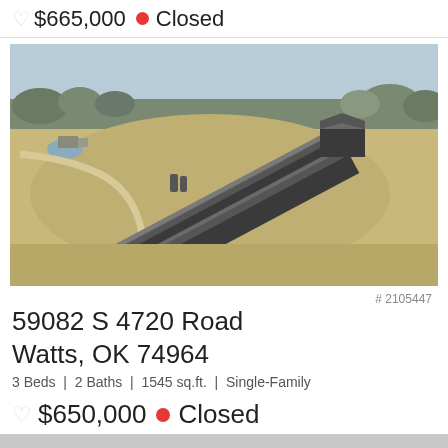♡ $665,000 ● Closed
[Figure (photo): Aerial drone photograph of a rural property with two long dark metal poultry/livestock barns, a curved driveway, open pasture land, a pond, small outbuildings, and surrounding woodland in winter/early spring conditions.]
# 2105447
59082 S 4720 Road
Watts, OK 74964
3 Beds | 2 Baths | 1545 sq.ft. | Single-Family
♡ $650,000 ● Closed